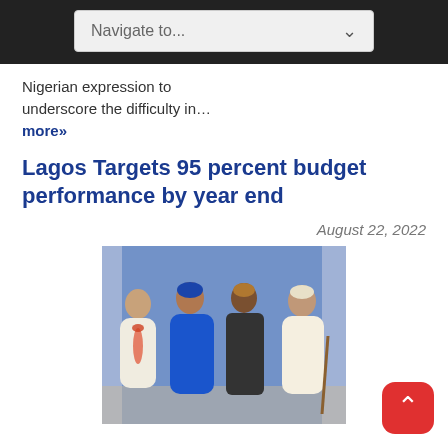Navigate to...
Nigerian expression to underscore the difficulty in…
more»
Lagos Targets 95 percent budget performance by year end
August 22, 2022
[Figure (photo): Four men standing together at an event, wearing traditional Nigerian attire including blue agbada, white agbada with beads, dark outfit, and white robes, against a blue draped background.]